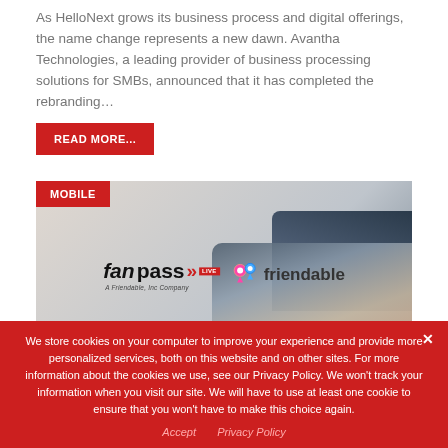As HelloNext grows its business process and digital offerings, the name change represents a new dawn. Avantha Technologies, a leading provider of business processing solutions for SMBs, announced that it has completed the rebranding…
READ MORE...
[Figure (photo): Fanpass Live / Friendable branding image with a person's hand holding a phone, wearing a business suit. A red 'MOBILE' tag is in the top-left corner.]
We store cookies on your computer to improve your experience and provide more personalized services, both on this website and on other sites. For more information about the cookies we use, see our Privacy Policy. We won't track your information when you visit our site. We will have to use at least one cookie to ensure that you won't have to make this choice again.
Accept   Privacy Policy